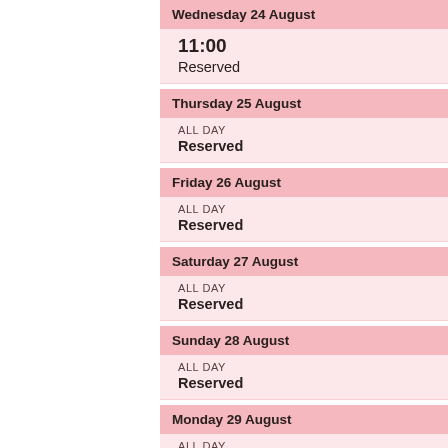Wednesday 24 August
11:00
Reserved
Thursday 25 August
ALL DAY
Reserved
Friday 26 August
ALL DAY
Reserved
Saturday 27 August
ALL DAY
Reserved
Sunday 28 August
ALL DAY
Reserved
Monday 29 August
ALL DAY
Reserved